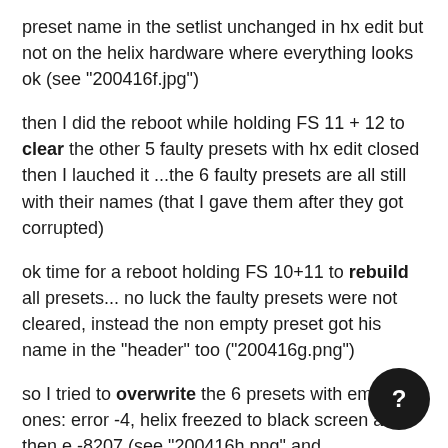preset name in the setlist unchanged in hx edit but not on the helix hardware where everything looks ok (see "200416f.jpg")
then I did the reboot while holding FS 11 + 12 to clear the other 5 faulty presets with hx edit closed
then I lauched it ...the 6 faulty presets are all still with their names (that I gave them after they got corrupted)
ok time for a reboot holding FS 10+11 to rebuild all presets... no luck the faulty presets were not cleared, instead the non empty preset got his name in the "header" too ("200416g.png")
so I tried to overwrite the 6 presets with empty ones: error -4, helix freezed to black screen and then e -8207 (see "200416h.png" and "200416i.png")